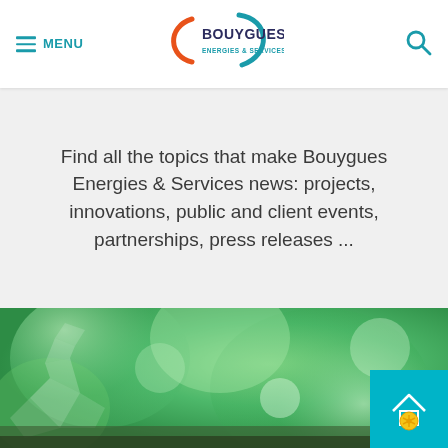MENU | BOUYGUES ENERGIES & SERVICES | [search icon]
Find all the topics that make Bouygues Energies & Services news: projects, innovations, public and client events, partnerships, press releases ...
[Figure (photo): Green bokeh background with geometric low-poly plant/leaf shapes, suggesting nature and technology. Below is a teal square badge with a house/windmill icon in white and orange/yellow tones.]